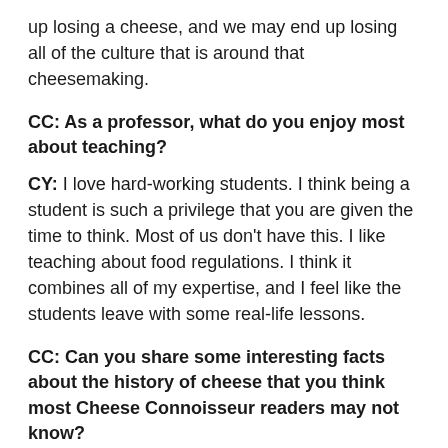up losing a cheese, and we may end up losing all of the culture that is around that cheesemaking.
CC: As a professor, what do you enjoy most about teaching?
CY: I love hard-working students. I think being a student is such a privilege that you are given the time to think. Most of us don't have this. I like teaching about food regulations. I think it combines all of my expertise, and I feel like the students leave with some real-life lessons.
CC: Can you share some interesting facts about the history of cheese that you think most Cheese Connoisseur readers may not know?
CY: There were no dairy animals in the Western Hemisphere before the arrival of European settlers.